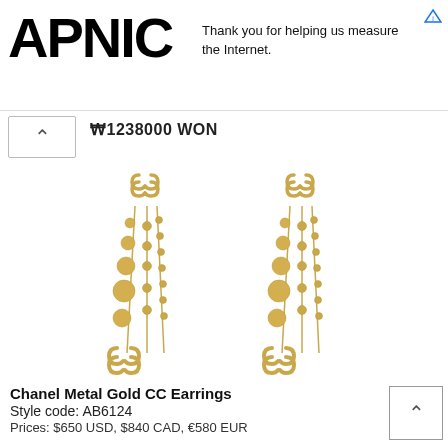[Figure (logo): APNIC logo in bold black text]
Thank you for helping us measure the Internet.
W1238000 WON
[Figure (photo): Two Chanel Metal Gold CC dangle earrings with CC logo top and bottom connected by gold bead chains, photographed on white background]
Chanel Metal Gold CC Earrings
Style code: AB6124
Prices: $650 USD, $840 CAD, €580 EUR